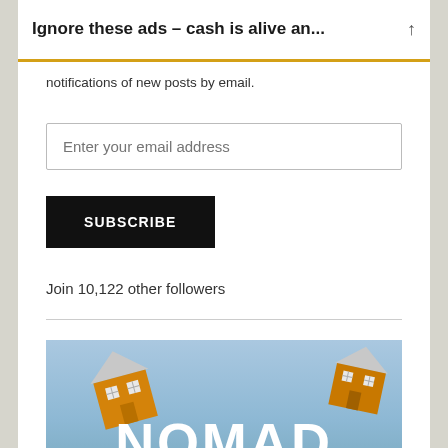Ignore these ads – cash is alive an...
notifications of new posts by email.
Enter your email address
SUBSCRIBE
Join 10,122 other followers
[Figure (photo): Image with flying orange houses against a blue sky background with large white 'NOMAD' text]